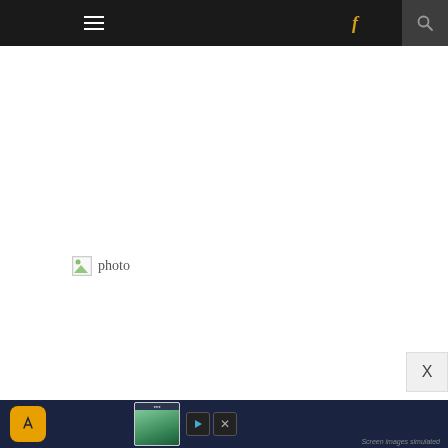Navigation bar with hamburger menu, Facebook icon, and search icon
[Figure (screenshot): Broken image placeholder with small icon showing green triangle/circle and the text 'photo' to its right, centered in a white content area]
[Figure (screenshot): Bottom advertisement bar showing a dark navy background with an orange app icon (airplane/travel), a phone screenshot thumbnail, play and close controls, and 'Screen images simulated' text]
X
Screen images simulated